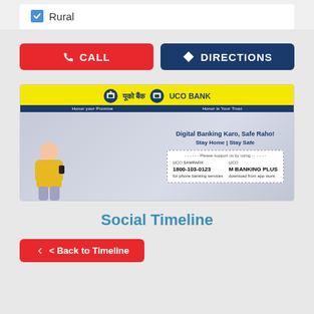Rural
[Figure (illustration): Red CALL button with phone icon and dark blue DIRECTIONS button with navigation arrow icon]
[Figure (illustration): UCO Bank banner ad showing 'Digital Banking Karo, Safe Raho! Stay Home | Stay Safe' with UCO SAMPARK 1800-103-0123 and UCO M BANKING PLUS download from app store]
Social Timeline
[Figure (illustration): Partial red button at bottom, partially visible, appears to say 'Back to Timeline']